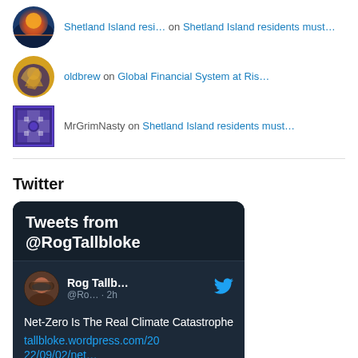Shetland Island resi… on Shetland Island residents must…
oldbrew on Global Financial System at Ris…
MrGrimNasty on Shetland Island residents must…
Twitter
[Figure (screenshot): Embedded Twitter widget showing Tweets from @RogTallbloke, with a tweet by Rog Tallb... (@Ro... · 2h) reading 'Net-Zero Is The Real Climate Catastrophe' with link tallbloke.wordpress.com/20 22/09/02/net…]